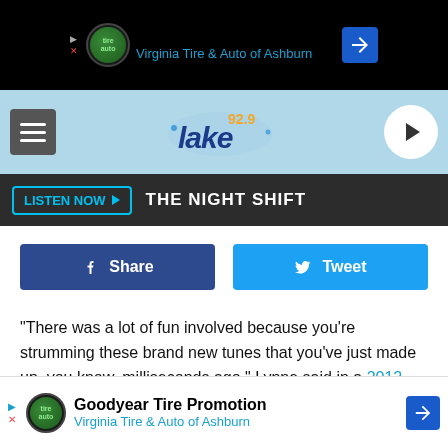[Figure (screenshot): Top advertisement banner: Save Big on Goodyear Tires - Virginia Tire & Auto of Ashburn]
[Figure (logo): 92.9 Lake radio station logo header with hamburger menu and play button]
LISTEN NOW ▶  THE NIGHT SHIFT
[Figure (screenshot): Facebook Share button and Twitter Tweet button]
"There was a lot of fun involved because you're strumming these brand new tunes that you've just made up, you know, milliseconds ago," Lynne said in a 2012 interview. "There you are doing it and then you've got to write the words and then you're singing in. And that's all happening in a matter of probably
[Figure (screenshot): Bottom advertisement: Goodyear Tire Promotion - Virginia Tire & Auto of Ashburn]